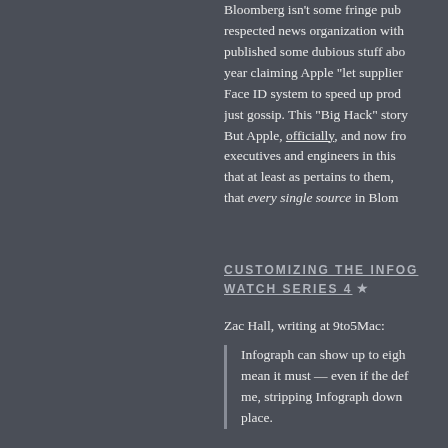Bloomberg isn't some fringe publication — it's a respected news organization with strong standards, that published some dubious stuff about Apple over the past year claiming Apple "let suppliers" cut corners on the Face ID system to speed up production. That was not just gossip. This "Big Hack" story is on another level. But Apple, officially, and now from numerous Apple executives and engineers in this piece, are telling us that at least as pertains to them, they are certain that every single source in Bloomberg's story is wrong.
CUSTOMIZING THE INFOGRAPH WATCH SERIES 4 ★
Zac Hall, writing at 9to5Mac:
Infograph can show up to eight complications. That doesn't mean it must — even if the default does. For me, stripping Infograph down to just four complications in place.